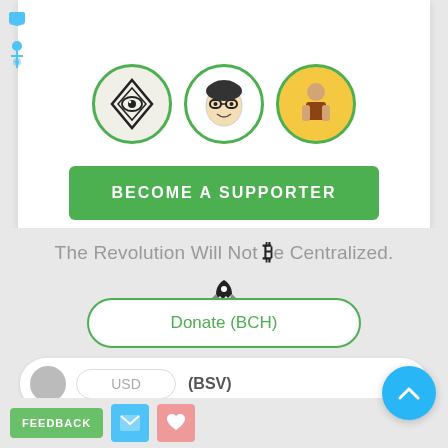[Figure (screenshot): Three circular avatar images in a row with green borders: an eye/illuminati symbol, a cartoon face with glasses, and a person with a yellow background]
[Figure (screenshot): Green button labeled BECOME A SUPPORTER]
The Revolution Will Not ₿e Centralized.
[Figure (illustration): Rocket icon]
[Figure (screenshot): Donate (BCH) button with green border]
[Figure (screenshot): BSV input row with gray circle, USD input field, and (BSV) label]
[Figure (screenshot): Bottom bar with FEEDBACK button, Twitter button, heart button, and blue scroll-to-top button]